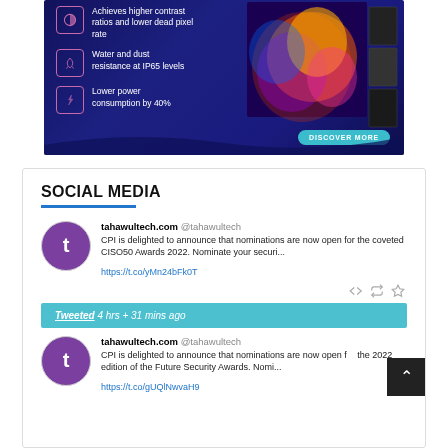[Figure (infographic): Advertisement banner with dark blue background showing LED display features: higher contrast ratios and lower dead pixel rate, water and dust resistance at IP65 levels, lower power consumption by 40%. Shows an LED display panel with colorful graphics and a 'DISCOVER MORE' button.]
SOCIAL MEDIA
tahawultech.com @tahawultech
CPI is delighted to announce that nominations are now open for the coveted CISO50 Awards 2022. Nominate your securi...
https://t.co/yMn24bFk0T
Tweeted  4 hrs + 31 mins ago
tahawultech.com @tahawultech
CPI is delighted to announce that nominations are now open for the 2022 edition of the Future Security Awards. Nomi...
https://t.co/gUQlNwvaH9